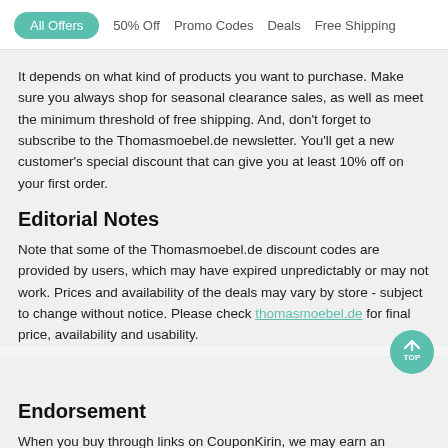All Offers  50% Off  Promo Codes  Deals  Free Shipping
It depends on what kind of products you want to purchase. Make sure you always shop for seasonal clearance sales, as well as meet the minimum threshold of free shipping. And, don't forget to subscribe to the Thomasmoebel.de newsletter. You'll get a new customer's special discount that can give you at least 10% off on your first order.
Editorial Notes
Note that some of the Thomasmoebel.de discount codes are provided by users, which may have expired unpredictably or may not work. Prices and availability of the deals may vary by store - subject to change without notice. Please check thomasmoebel.de for final price, availability and usability.
Endorsement
When you buy through links on CouponKirin, we may earn an affiliate commission. Learn More